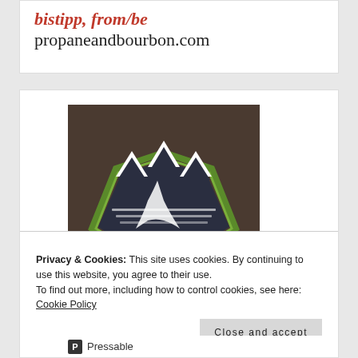propaneandbourbon.com
[Figure (logo): Sierra Nevada style mountain landscape logo with green shield outline, dark navy mountains and winding road on brown background, with text SIERRA below]
Privacy & Cookies: This site uses cookies. By continuing to use this website, you agree to their use.
To find out more, including how to control cookies, see here: Cookie Policy
Close and accept
[Figure (logo): Pressable logo — white P in dark square followed by Pressable wordmark]